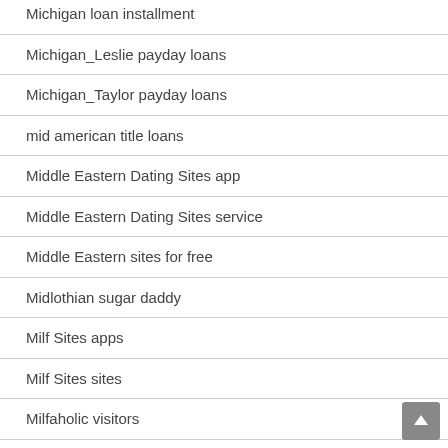Michigan loan installment
Michigan_Leslie payday loans
Michigan_Taylor payday loans
mid american title loans
Middle Eastern Dating Sites app
Middle Eastern Dating Sites service
Middle Eastern sites for free
Midlothian sugar daddy
Milf Sites apps
Milf Sites sites
Milfaholic visitors
military cupid sign in
military cupid sito di incontri